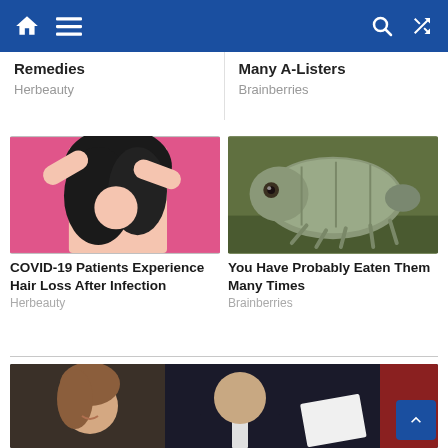Navigation bar with home, menu, search, shuffle icons
Remedies
Herbeauty
Many A-Listers
Brainberries
[Figure (photo): Woman with hands in dark curly hair, pink background]
COVID-19 Patients Experience Hair Loss After Infection
Herbeauty
[Figure (photo): Close-up of a tardigrade (water bear) on green surface]
You Have Probably Eaten Them Many Times
Brainberries
[Figure (photo): Man and woman at formal event, man is bald, woman smiling]